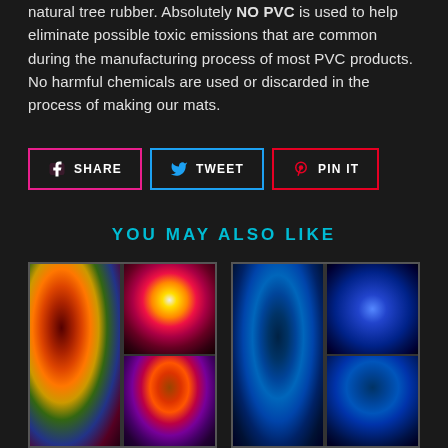natural tree rubber. Absolutely NO PVC is used to help eliminate possible toxic emissions that are common during the manufacturing process of most PVC products. No harmful chemicals are used or discarded in the process of making our mats.
[Figure (infographic): Three social sharing buttons: SHARE (Facebook, pink border), TWEET (Twitter, blue border), PIN IT (Pinterest, red border)]
YOU MAY ALSO LIKE
[Figure (photo): Two product images side by side. Left: colorful warm-toned fractal psychedelic yoga mat with red, orange, yellow, green colors shown in a 3-panel layout. Right: cool blue-toned fractal yoga mat with blue flower/star pattern shown in a 3-panel layout.]